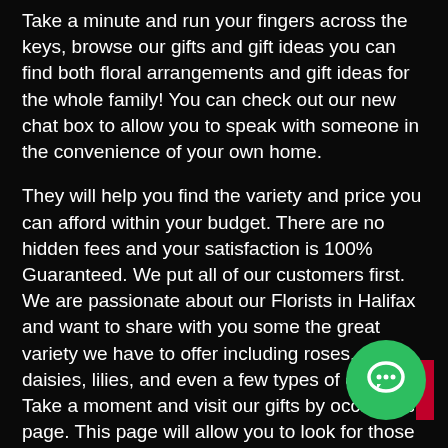Take a minute and run your fingers across the keys, browse our gifts and gift ideas you can find both floral arrangements and gift ideas for the whole family! You can check out our new chat box to allow you to speak with someone in the convenience of your own home.
They will help you find the variety and price you can afford within your budget. There are no hidden fees and your satisfaction is 100% Guaranteed. We put all of our customers first. We are passionate about our Florists in Halifax and want to share with you some the great variety we have to offer including roses, tulips, daisies, lilies, and even a few types of orchids. Take a moment and visit our gifts by occasions page. This page will allow you to look for those special things for that secret someone one moment at a time. If you are searching for the special present for your daughters next big day take a minute and browse our pages. Our services include our Halifax florists delivery service available six days a week. Yes! Even . You can guarantee freshness with every delivery. Ot Floral Service Guarantees: u You can find a floral gift  s your needs and budget u We provide quick courteous service u
[Figure (other): Green circular chat/messaging button icon in the bottom right corner of the page]